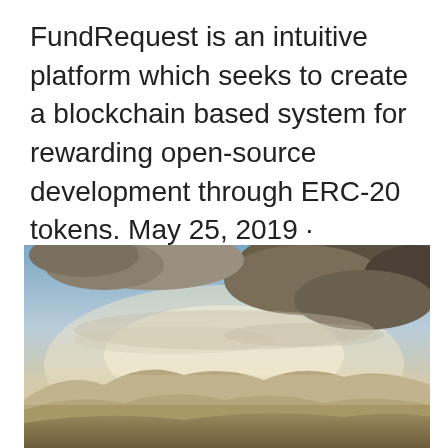FundRequest is an intuitive platform which seeks to create a blockchain based system for rewarding open-source development through ERC-20 tokens. May 25, 2019 · FundRequest is built for the purpose of facilitating the funding mechanism of any open project, in any language. The platform offers an easy funding, claiming, and rewarding of open source contributions through blockchain technology.
[Figure (photo): Landscape photograph showing rolling hills or mountains under a dramatic cloudy sky with warm golden-brown tones. The sky occupies the upper portion with large clouds, and hazy hills recede into the distance in the lower portion.]